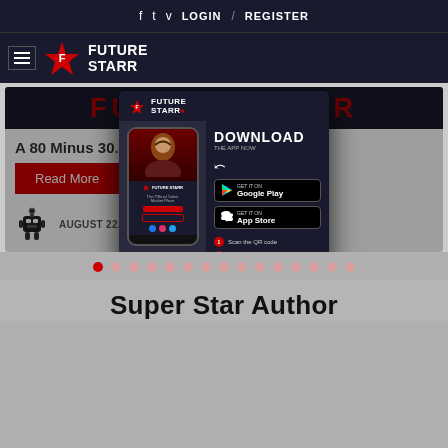f  t  v  LOGIN  /  REGISTER
[Figure (logo): Future Starr logo with hamburger menu and star icon]
[Figure (screenshot): Future Starr banner with large red text]
A 80 Minus 30...
Read More
[Figure (infographic): Future Starr app download modal with phone mockup, QR code, Google Play and App Store buttons, download instructions]
AUGUST 22, 2022  |  SHAVEEZ HAIDER
Super Star Author